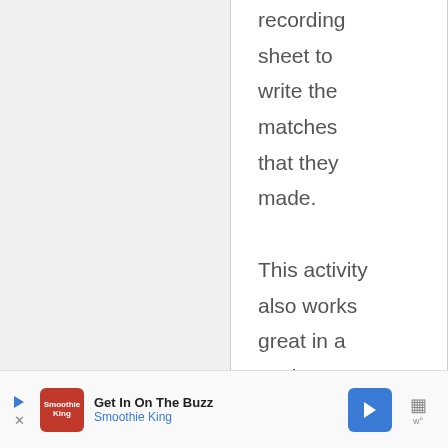recording sheet to write the matches that they made.

This activity also works great in a pocket chart!